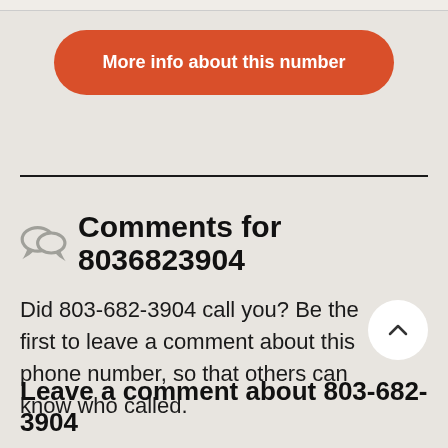More info about this number
Comments for 8036823904
Did 803-682-3904 call you? Be the first to leave a comment about this phone number, so that others can know who called.
Leave a comment about 803-682-3904